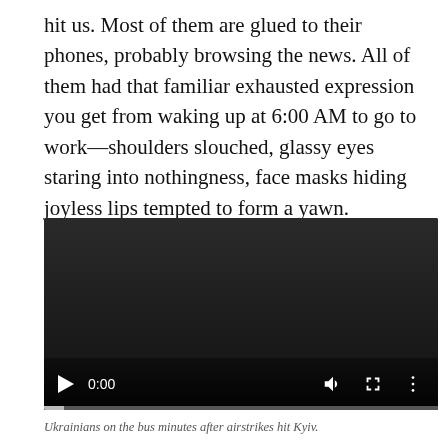hit us. Most of them are glued to their phones, probably browsing the news. All of them had that familiar exhausted expression you get from waking up at 6:00 AM to go to work—shoulders slouched, glassy eyes staring into nothingness, face masks hiding joyless lips tempted to form a yawn.
[Figure (other): An embedded video player showing a dark/black frame with playback controls at the bottom: play button, time display showing 0:00, volume icon, fullscreen icon, and options menu icon. A progress bar is visible at the very bottom.]
Ukrainians on the bus minutes after airstrikes hit Kyiv.